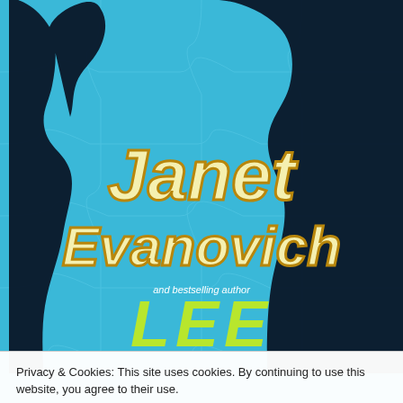[Figure (illustration): Book cover for a Janet Evanovich and Lee collaboration. Blue puzzle-piece patterned background with two black silhouettes of people facing each other. Large italic bold cream/yellow text reads 'Janet Evanovich' with gold outline. Below in smaller white italic text 'and bestselling author'. Below that in large lime green bold italic text 'LEE'. Bottom shows partial colorful text. Cookie consent banner overlays the lower portion.]
Privacy & Cookies: This site uses cookies. By continuing to use this website, you agree to their use.
To find out more, including how to control cookies, see here: Cookie Policy
Close and accept